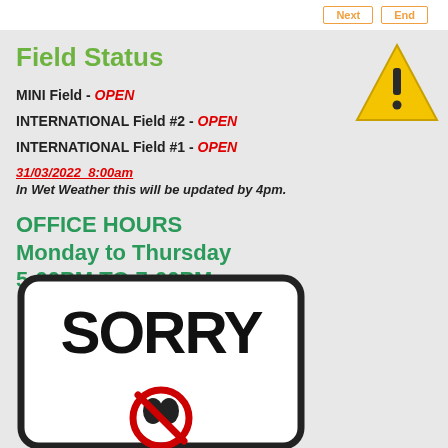Next  End
Field Status
MINI Field - OPEN
INTERNATIONAL Field #2 - OPEN
INTERNATIONAL Field #1 - OPEN
31/03/2022  8:00am
In Wet Weather this will be updated by 4pm.
OFFICE HOURS
Monday to Thursday
5:00PM TO 7:00PM
[Figure (photo): Warning triangle icon with exclamation mark]
[Figure (photo): SORRY sign with no dogs allowed symbol]